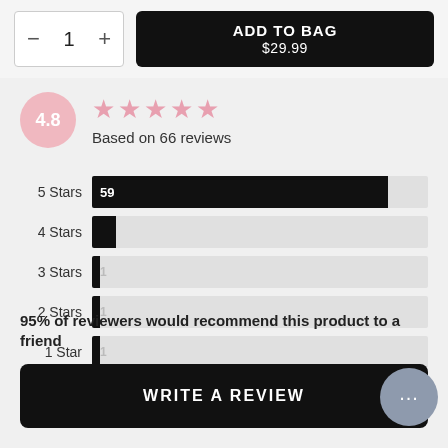[Figure (screenshot): Add to bag button area with quantity selector showing '1' with minus and plus controls, and black 'ADD TO BAG $29.99' button]
[Figure (bar-chart): Star Rating Distribution]
4.8
Based on 66 reviews
95% of reviewers would recommend this product to a friend
WRITE A REVIEW